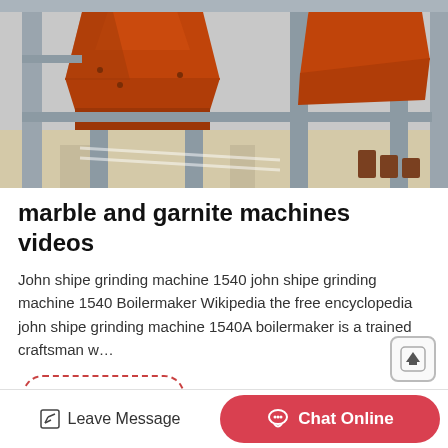[Figure (photo): Industrial equipment: orange hopper/crusher machines with grey steel support structures on a concrete floor, photographed from below/side angle.]
marble and garnite machines videos
John shipe grinding machine 1540 john shipe grinding machine 1540 Boilermaker Wikipedia the free encyclopedia john shipe grinding machine 1540A boilermaker is a trained craftsman w…
Read More
Leave Message   Chat Online